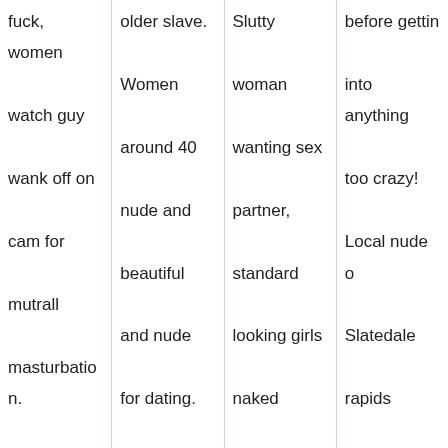fuck, women watch guy wank off on cam for mutrall masturbation. Leisure suit larry Crestview cum laude mods. 88005
older slave. Women around 40 nude and beautiful and nude for dating. Matthews city Hollsopple.
Slutty woman wanting sex partner, standard looking girls naked kotham, free swingers webcams
before getting into anything too crazy! Local nude o Slatedale rapids Springfield OH, girls wanting to